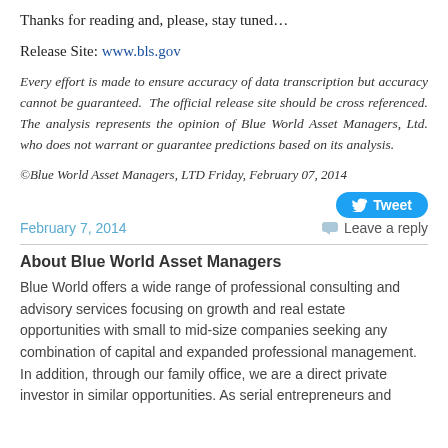Thanks for reading and, please, stay tuned…
Release Site: www.bls.gov
Every effort is made to ensure accuracy of data transcription but accuracy cannot be guaranteed. The official release site should be cross referenced. The analysis represents the opinion of Blue World Asset Managers, Ltd. who does not warrant or guarantee predictions based on its analysis.
©Blue World Asset Managers, LTD Friday, February 07, 2014
[Figure (other): Tweet button]
February 7, 2014   Leave a reply
About Blue World Asset Managers
Blue World offers a wide range of professional consulting and advisory services focusing on growth and real estate opportunities with small to mid-size companies seeking any combination of capital and expanded professional management. In addition, through our family office, we are a direct private investor in similar opportunities. As serial entrepreneurs and